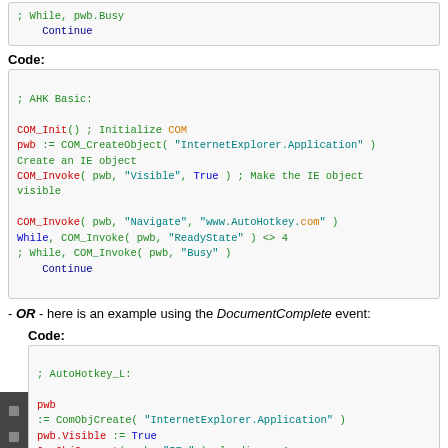; While, pwb.Busy
    Continue
Code:
; AHK Basic:

COM_Init() ; Initialize COM
pwb := COM_CreateObject( "InternetExplorer.Application" ) ; Create an IE object
COM_Invoke( pwb, "Visible", True ) ; Make the IE object visible

COM_Invoke( pwb, "Navigate", "www.AutoHotkey.com" )
While, COM_Invoke( pwb, "ReadyState" ) <> 4
; While, COM_Invoke( pwb, "Busy" )
    Continue
- OR - here is an example using the DocumentComplete event:
Code:
; AutoHotkey_L:

pwb
:= ComObjCreate( "InternetExplorer.Application" )
pwb.Visible := True
ComObjConnect( pwb, "IE_" ), loading = 1 ; Connect IE object & set var "loading" as TRUE
pwb.Navigate( "www.AutoHotkey.com" )
While, loading
    Continue